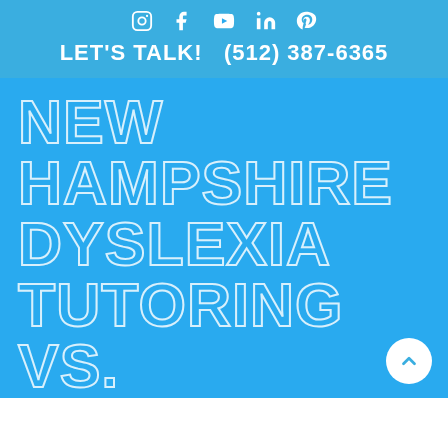Social media icons: Instagram, Facebook, YouTube, LinkedIn, Pinterest
LET'S TALK!   (512) 387-6365
NEW HAMPSHIRE DYSLEXIA TUTORING VS. DYSLEXIA THERAPY
Traditional dyslexia tutoring is not a comprehensive solution for helping your